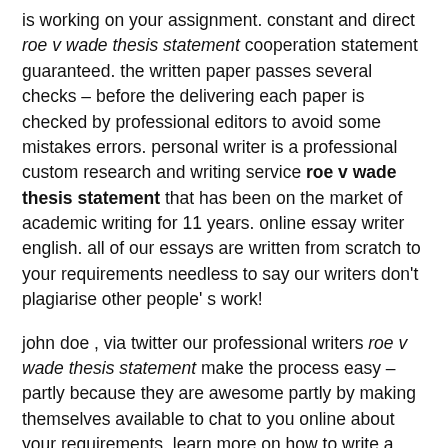is working on your assignment. constant and direct roe v wade thesis statement cooperation statement guaranteed. the written paper passes several checks – before the delivering each paper is checked by professional editors to avoid some mistakes errors. personal writer is a professional custom research and writing service roe v wade thesis statement that has been on the market of academic writing for 11 years. online essay writer english. all of our essays are written from scratch to your requirements needless to say our writers don't plagiarise other people' s work!
john doe , via twitter our professional writers roe v wade thesis statement make the process easy – partly because they are awesome partly by making themselves available to chat to you online about your requirements. learn more on how to write a great psychology essay about « psychology article review» with exclusive free essays at prime- writings. we are a statement respected writing company because of our writers who have a lengthy record of accomplishment of professional writing experience. we believe in honest premium work will always surpass your expectations! prime essay